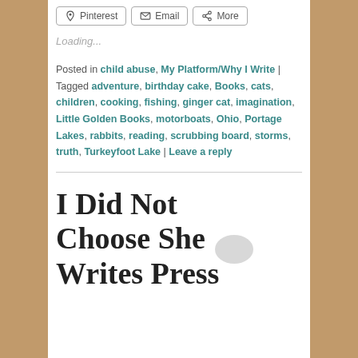[Figure (infographic): Share buttons: Pinterest, Email, More]
Loading...
Posted in child abuse, My Platform/Why I Write | Tagged adventure, birthday cake, Books, cats, children, cooking, fishing, ginger cat, imagination, Little Golden Books, motorboats, Ohio, Portage Lakes, rabbits, reading, scrubbing board, storms, truth, Turkeyfoot Lake | Leave a reply
I Did Not Choose She Writes Press